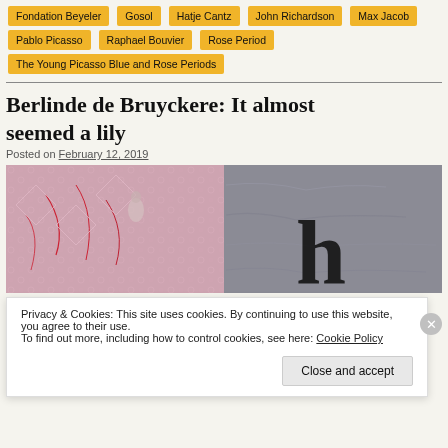Fondation Beyeler
Gosol
Hatje Cantz
John Richardson
Max Jacob
Pablo Picasso
Raphael Bouvier
Rose Period
The Young Picasso Blue and Rose Periods
Berlinde de Bruyckere: It almost seemed a lily
Posted on February 12, 2019
[Figure (photo): Close-up photograph showing textured pink lace fabric with red stitching on the left side, and grey stone or metal surface on the right, with a large stylized dark letter or symbol overlaid.]
Privacy & Cookies: This site uses cookies. By continuing to use this website, you agree to their use. To find out more, including how to control cookies, see here: Cookie Policy